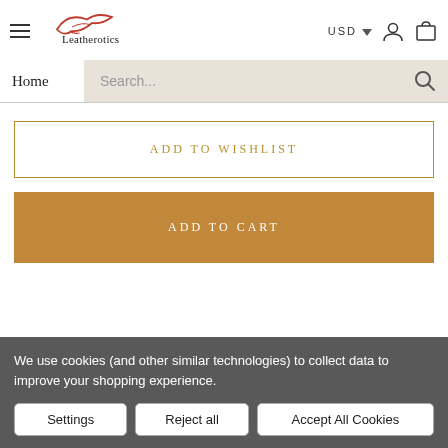Leatherotics — USD — Home — Search
ADD TO WISHLIST
ADD TO CART
We use cookies (and other similar technologies) to collect data to improve your shopping experience.
Settings | Reject all | Accept All Cookies